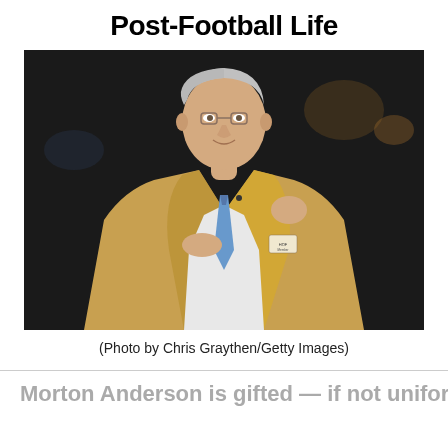Post-Football Life
[Figure (photo): Man in a golden/tan blazer with a blue tie and white shirt, smiling and holding open the lapel of his jacket to show the inside lining. He is standing in what appears to be an indoor arena with dark background. The jacket appears to be a Hall of Fame gold jacket.]
(Photo by Chris Graythen/Getty Images)
Morton Anderson is gifted — if not uniformed...